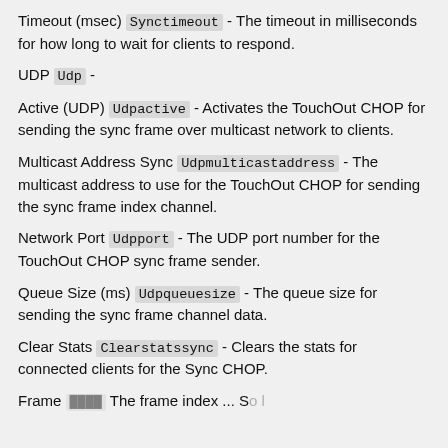Timeout (msec) Synctimeout - The timeout in milliseconds for how long to wait for clients to respond.
UDP Udp -
Active (UDP) Udpactive - Activates the TouchOut CHOP for sending the sync frame over multicast network to clients.
Multicast Address Sync Udpmulticastaddress - The multicast address to use for the TouchOut CHOP for sending the sync frame index channel.
Network Port Udpport - The UDP port number for the TouchOut CHOP sync frame sender.
Queue Size (ms) Udpqueuesize - The queue size for sending the sync frame channel data.
Clear Stats Clearstatssync - Clears the stats for connected clients for the Sync CHOP.
Frame ... The frame index ...